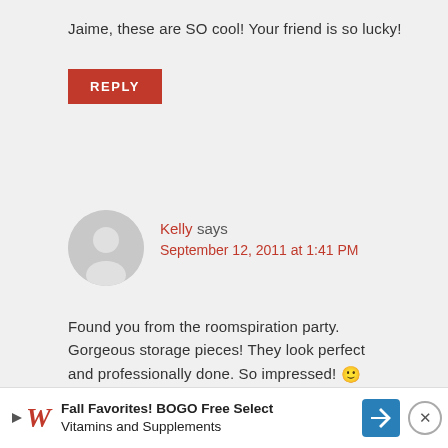Jaime, these are SO cool! Your friend is so lucky!
REPLY
Kelly says
September 12, 2011 at 1:41 PM
Found you from the roomspiration party. Gorgeous storage pieces! They look perfect and professionally done. So impressed! 🙂
REPLY
Fall Favorites! BOGO Free Select Vitamins and Supplements